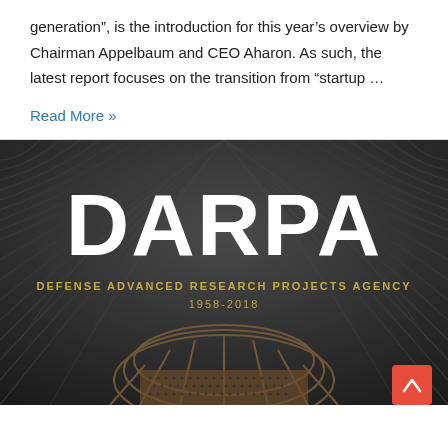generation”, is the introduction for this year’s overview by Chairman Appelbaum and CEO Aharon. As such, the latest report focuses on the transition from “startup …
Read More »
[Figure (photo): DARPA Defense Advanced Research Projects Agency 1958-2018 book cover showing architectural interior with curved metallic structure]